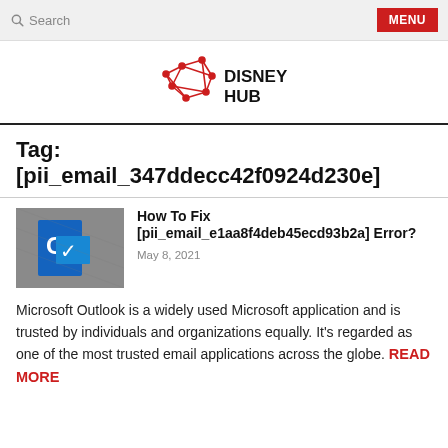Search   MENU
[Figure (logo): Disney Hub logo with red geometric network icon and bold text DISNEY HUB]
Tag: [pii_email_347ddecc42f0924d230e]
[Figure (screenshot): Microsoft Outlook logo/icon on grey background]
How To Fix [pii_email_e1aa8f4deb45ecd93b2a] Error?
May 8, 2021
Microsoft Outlook is a widely used Microsoft application and is trusted by individuals and organizations equally. It's regarded as one of the most trusted email applications across the globe.
READ MORE